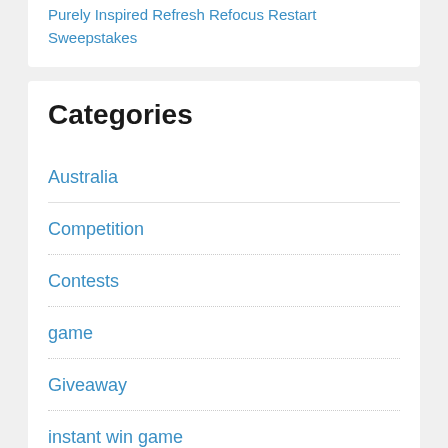Purely Inspired Refresh Refocus Restart Sweepstakes
Categories
Australia
Competition
Contests
game
Giveaway
instant win game